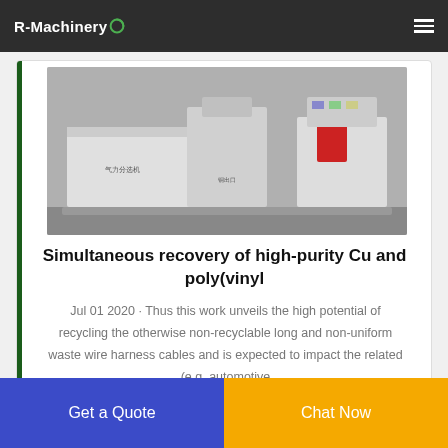R-Machinery
[Figure (photo): Industrial cable recycling machine — white and red equipment in a factory setting]
Simultaneous recovery of high-purity Cu and poly(vinyl
Jul 01 2020 · Thus this work unveils the high potential of recycling the otherwise non-recyclable long and non-uniform waste wire harness cables and is expected to impact the related (e.g. automotive
Get a Quote
Chat Now